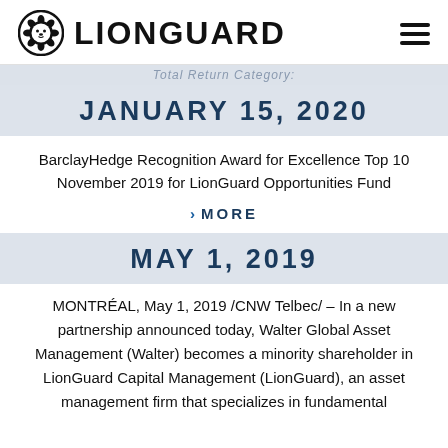LIONGUARD
Total Return Category:
JANUARY 15, 2020
BarclayHedge Recognition Award for Excellence Top 10 November 2019 for LionGuard Opportunities Fund
> MORE
MAY 1, 2019
MONTRÉAL, May 1, 2019 /CNW Telbec/ – In a new partnership announced today, Walter Global Asset Management (Walter) becomes a minority shareholder in LionGuard Capital Management (LionGuard), an asset management firm that specializes in fundamental